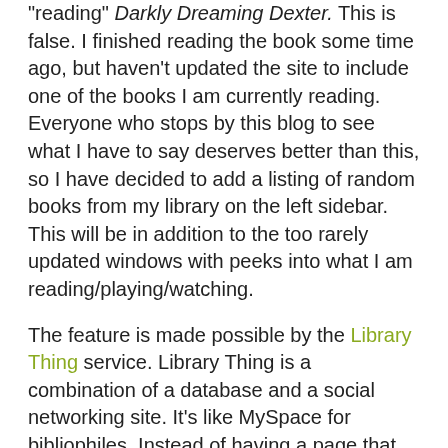"reading" Darkly Dreaming Dexter. This is false. I finished reading the book some time ago, but haven't updated the site to include one of the books I am currently reading. Everyone who stops by this blog to see what I have to say deserves better than this, so I have decided to add a listing of random books from my library on the left sidebar. This will be in addition to the too rarely updated windows with peeks into what I am reading/playing/watching.
The feature is made possible by the Library Thing service. Library Thing is a combination of a database and a social networking site. It's like MySpace for bibliophiles. Instead of having a page that features one song you like and a video clip, you can amaze the world with your collection of literary wonders. Well...you can at least meet people online who share similar tastes in books, which leads me to some of the best things about the site. I earlier mentioned how much I like the Pandora online radio service because it makes musical recommendations based on your musical tastes. Library Thing has two similar functions, a book recommender and a book un-recommender. Unlike Pandora, these recommendations aren't based on an algorithm and